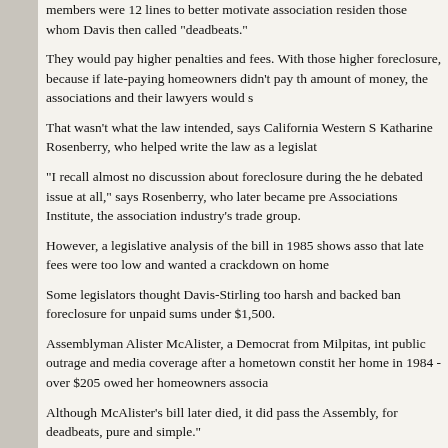members were 12 lines to better motivate association residents and those whom Davis then called "deadbeats."
They would pay higher penalties and fees. With those higher fees came foreclosure, because if late-paying homeowners didn't pay the owed amount of money, the associations and their lawyers would s
That wasn't what the law intended, says California Western S Katharine Rosenberry, who helped write the law as a legislat
"I recall almost no discussion about foreclosure during the he debated issue at all," says Rosenberry, who later became pre Associations Institute, the association industry's trade group.
However, a legislative analysis of the bill in 1985 shows asso that late fees were too low and wanted a crackdown on home
Some legislators thought Davis-Stirling too harsh and backed ban foreclosure for unpaid sums under $1,500.
Assemblyman Alister McAlister, a Democrat from Milpitas, int public outrage and media coverage after a hometown constit her home in 1984 - over $205 owed her homeowners associa
Although McAlister's bill later died, it did pass the Assembly, for deadbeats, pure and simple."